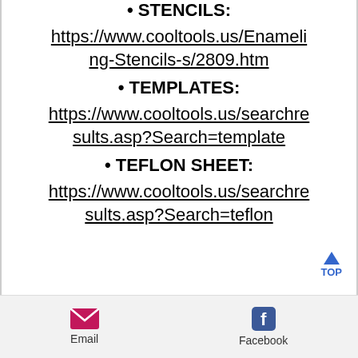• STENCILS: https://www.cooltools.us/Enameling-Stencils-s/2809.htm
• TEMPLATES: https://www.cooltools.us/searchresults.asp?Search=template
• TEFLON SHEET: https://www.cooltools.us/searchresults.asp?Search=teflon
Email  Facebook